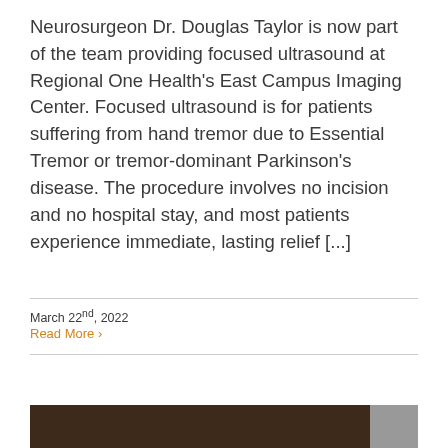Neurosurgeon Dr. Douglas Taylor is now part of the team providing focused ultrasound at Regional One Health's East Campus Imaging Center. Focused ultrasound is for patients suffering from hand tremor due to Essential Tremor or tremor-dominant Parkinson's disease. The procedure involves no incision and no hospital stay, and most patients experience immediate, lasting relief [...]
March 22nd, 2022
Read More ›
[Figure (photo): Partial view of a dark brown and grey image bar at the bottom of the page]